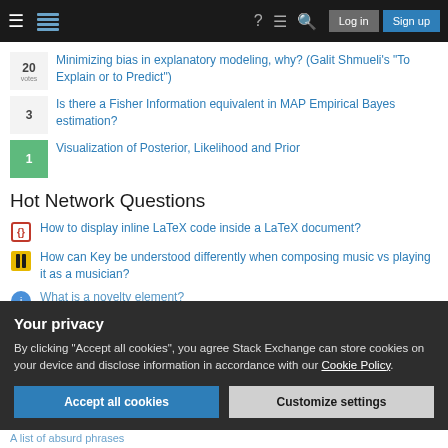Stack Exchange navigation bar with Log in and Sign up buttons
20 votes - Minimizing bias in explanatory modeling, why? (Galit Shmueli's "To Explain or to Predict")
3 votes - Is there a Fisher Information equivalent in MAP Empirical Bayes estimation?
1 answer - Visualization of Posterior, Likelihood and Prior
Hot Network Questions
How to display inline LaTeX code inside a LaTeX document?
How can Key be understood differently when composing music vs playing it as a musician?
What is a novelty element?
Your privacy
By clicking "Accept all cookies", you agree Stack Exchange can store cookies on your device and disclose information in accordance with our Cookie Policy.
A list of absurd phrases